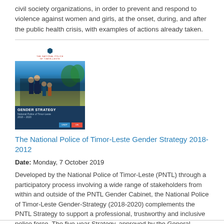civil society organizations, in order to prevent and respond to violence against women and girls, at the onset, during, and after the public health crisis, with examples of actions already taken.
[Figure (photo): Cover image of 'The National Police of Timor-Leste Gender Strategy 2018-2012' document, showing uniformed police officers with a dark blue lower section.]
The National Police of Timor-Leste Gender Strategy 2018-2012
Date: Monday, 7 October 2019
Developed by the National Police of Timor-Leste (PNTL) through a participatory process involving a wide range of stakeholders from within and outside of the PNTL Gender Cabinet, the National Police of Timor-Leste Gender-Strategy (2018-2020) complements the PNTL Strategy to support a professional, trustworthy and inclusive police force. The five-year Strategy, approved by the General Commander and launched on 16 August 2018, highlights the multiple challenges that Timorese women face in the...